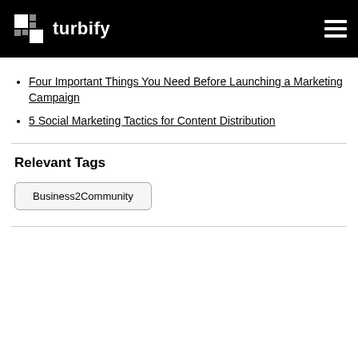turbify
Four Important Things You Need Before Launching a Marketing Campaign
5 Social Marketing Tactics for Content Distribution
Relevant Tags
Business2Community